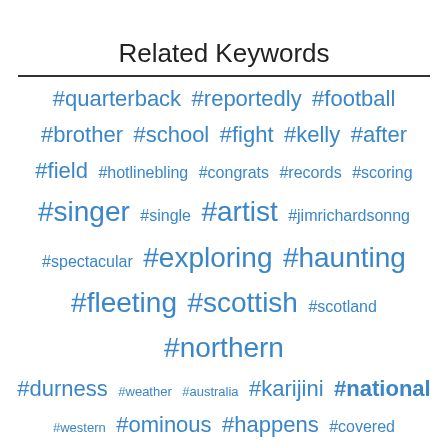Related Keywords
[Figure (infographic): Tag cloud of related hashtag keywords in varying font sizes and weights, all in blue, including: #quarterback, #reportedly, #football, #brother, #school, #fight, #kelly, #after, #field, #hotlinebling, #congrats, #records, #scoring, #singer, #single, #artist, #jimrichardsonng, #spectacular, #exploring, #haunting, #fleeting, #scottish, #scotland, #northern, #durness, #weather, #australia, #karijini, #national, #western, #ominous, #happens, #covered, #tented, #cloudy, #mostly, #barriers, #repost, #women, #light, #week, #last, #yes, #who, #you, #drenchgod, #trying, #amiri, #shoe, #gone, #keep, #look, #this, #thanksgiving, #americans]